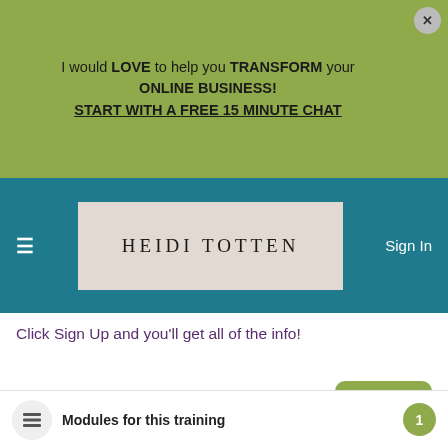I would LOVE to help you TRANSFORM your ONLINE BUSINESS! START WITH A FREE 15 MINUTE CHAT
[Figure (logo): Heidi Totten website logo with decorative background]
Sign In
Click Sign Up and you'll get all of the info!
Sign Up
Modules for this training
1